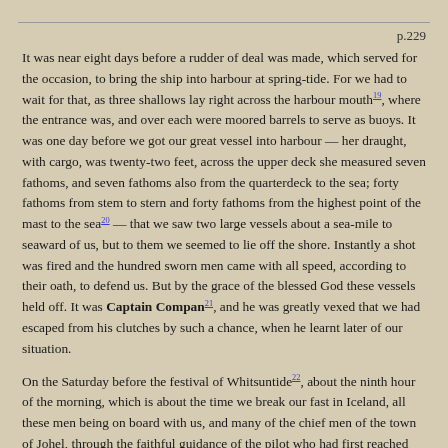p.229
It was near eight days before a rudder of deal was made, which served for the occasion, to bring the ship into harbour at spring-tide. For we had to wait for that, as three shallows lay right across the harbour mouth19, where the entrance was, and over each were moored barrels to serve as buoys. It was one day before we got our great vessel into harbour — her draught, with cargo, was twenty-two feet, across the upper deck she measured seven fathoms, and seven fathoms also from the quarterdeck to the sea; forty fathoms from stem to stern and forty fathoms from the highest point of the mast to the sea20 — that we saw two large vessels about a sea-mile to seaward of us, but to them we seemed to lie off the shore. Instantly a shot was fired and the hundred sworn men came with all speed, according to their oath, to defend us. But by the grace of the blessed God these vessels held off. It was Captain Compan21, and he was greatly vexed that we had escaped from his clutches by such a chance, when he learnt later of our situation.
On the Saturday before the festival of Whitsuntide22, about the ninth hour of the morning, which is about the time we break our fast in Iceland, all these men being on board with us, and many of the chief men of the town of Johel, through the faithful guidance of the pilot who had first reached us, and for the sum agreed upon, we were manoeuvred and towed